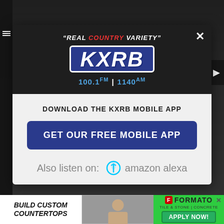[Figure (screenshot): KXRB Radio mobile app download modal popup. Header shows 'REAL COUNTRY VARIETY' tagline, KXRB logo in blue box, 100.1 FM | 1140 AM frequencies. Body shows download prompt, blue button for free mobile app, and Amazon Alexa listen option.]
"REAL COUNTRY VARIETY"
KXRB
100.1 FM | 1140 AM
DOWNLOAD THE KXRB MOBILE APP
GET OUR FREE MOBILE APP
Also listen on: amazon alexa
[Figure (screenshot): Bottom ad bar with 'BUILD CUSTOM COUNTERTOPS' text ad, a photo of a person, and FORMATO apply now green button ad]